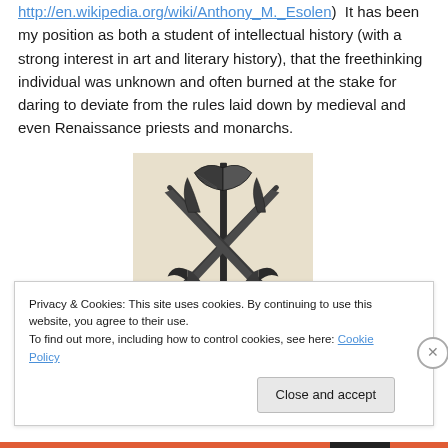http://en.wikipedia.org/wiki/Anthony_M._Esolen)  It has been my position as both a student of intellectual history (with a strong interest in art and literary history), that the freethinking individual was unknown and often burned at the stake for daring to deviate from the rules laid down by medieval and even Renaissance priests and monarchs.
[Figure (illustration): Black and white engraving/illustration of crossed medieval weapons including an axe, spears, and swords arranged in a decorative pattern on a beige/cream background.]
Privacy & Cookies: This site uses cookies. By continuing to use this website, you agree to their use.
To find out more, including how to control cookies, see here: Cookie Policy
Close and accept